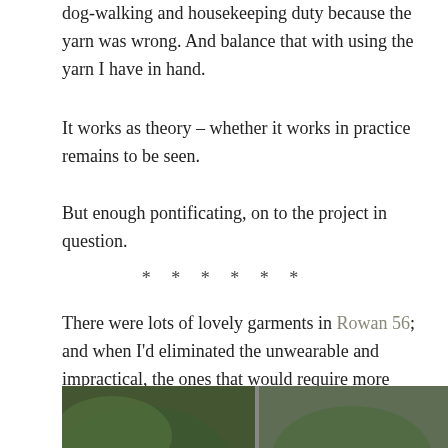dog-walking and housekeeping duty because the yarn was wrong. And balance that with using the yarn I have in hand.
It works as theory – whether it works in practice remains to be seen.
But enough pontificating, on to the project in question.
* * * * * *
There were lots of lovely garments in Rowan 56; and when I'd eliminated the unwearable and impractical, the ones that would require more work or more finance than I felt was justified I was left with two.
[Figure (photo): Bottom strip showing a partial outdoor photograph with greenery, partially cut off at page bottom.]